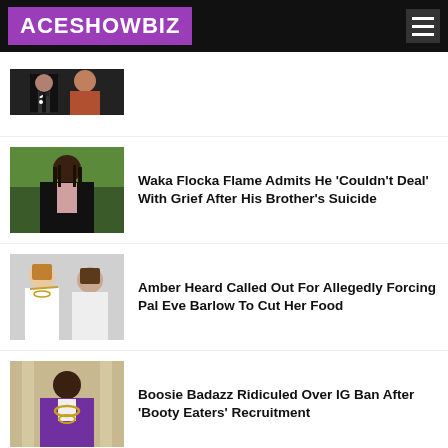ACESHOWBIZ
[Figure (photo): Partial thumbnail of a man in tuxedo and a woman, cropped at top]
Waka Flocka Flame Admits He 'Couldn't Deal' With Grief After His Brother's Suicide
[Figure (photo): Waka Flocka Flame in black suit with pink shirt]
Amber Heard Called Out For Allegedly Forcing Pal Eve Barlow To Cut Her Food
[Figure (photo): Amber Heard and Eve Barlow posing together]
Boosie Badazz Ridiculed Over IG Ban After 'Booty Eaters' Recruitment
[Figure (photo): Boosie Badazz in purple jacket with gold chain]